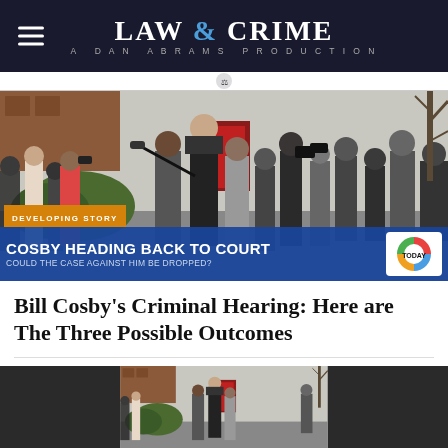LAW & CRIME — A DAN ABRAMS PRODUCTION
[Figure (photo): News broadcast screenshot showing Bill Cosby surrounded by press and security outside a building. Lower-third chyron reads 'DEVELOPING STORY / COSBY HEADING BACK TO COURT / COULD THE CASE AGAINST HIM BE DROPPED?' with TODAY show logo.]
Bill Cosby's Criminal Hearing: Here are The Three Possible Outcomes
[Figure (photo): Second photo of Bill Cosby scene outside building, partial view cropped at bottom of page.]